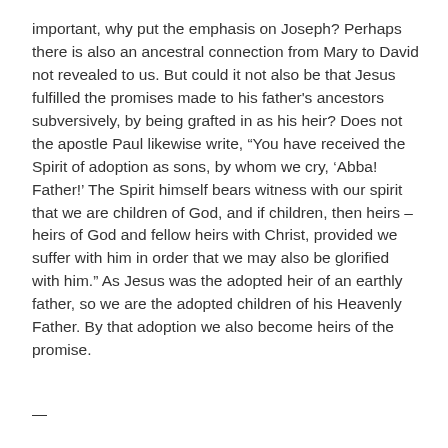important, why put the emphasis on Joseph? Perhaps there is also an ancestral connection from Mary to David not revealed to us. But could it not also be that Jesus fulfilled the promises made to his father's ancestors subversively, by being grafted in as his heir? Does not the apostle Paul likewise write, "You have received the Spirit of adoption as sons, by whom we cry, 'Abba! Father!' The Spirit himself bears witness with our spirit that we are children of God, and if children, then heirs – heirs of God and fellow heirs with Christ, provided we suffer with him in order that we may also be glorified with him." As Jesus was the adopted heir of an earthly father, so we are the adopted children of his Heavenly Father. By that adoption we also become heirs of the promise.
—